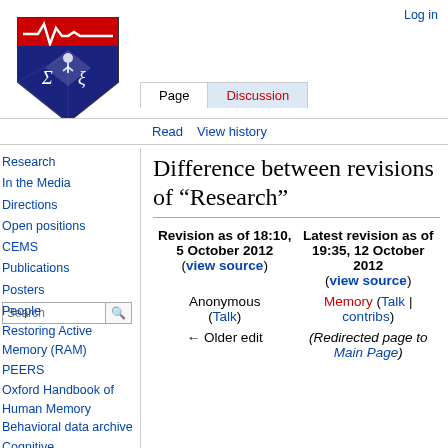Log in
[Figure (logo): University of Pennsylvania shield logo with red top bar containing EKG line, blue bottom with Sigma and Xi symbols and a figure at top]
Page | Discussion | Read | View history
Difference between revisions of "Research"
| Revision as of 18:10, 5 October 2012 (view source) | Latest revision as of 19:35, 12 October 2012 (view source) |
| --- | --- |
| Anonymous (Talk) | Memory (Talk | contribs) |
| ← Older edit | (Redirected page to Main Page) |
Research
In the Media
Directions
Open positions
CEMS
Publications
Posters
People
Restoring Active Memory (RAM)
PEERS
Oxford Handbook of Human Memory
Behavioral data archive
Cognitive...